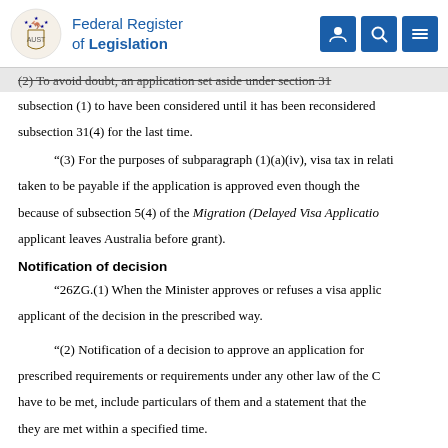Federal Register of Legislation
(2) To avoid doubt, an application set aside under section 31 ... subsection (1) to have been considered until it has been reconsidered ... subsection 31(4) for the last time.
“(3) For the purposes of subparagraph (1)(a)(iv), visa tax in relation ... taken to be payable if the application is approved even though the ... because of subsection 5(4) of the Migration (Delayed Visa Application ... applicant leaves Australia before grant).
Notification of decision
“26ZG.(1) When the Minister approves or refuses a visa application ... applicant of the decision in the prescribed way.
“(2) Notification of a decision to approve an application for ... prescribed requirements or requirements under any other law of the C ... have to be met, include particulars of them and a statement that the ... they are met within a specified time.